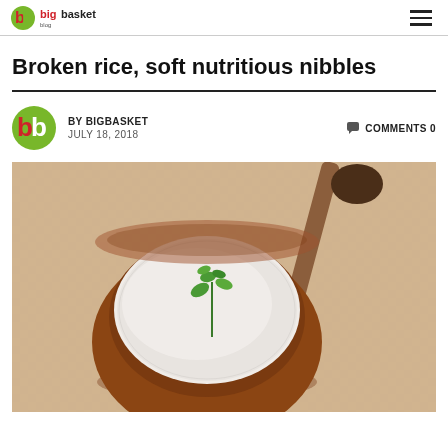bigbasket blog
Broken rice, soft nutritious nibbles
BY BIGBASKET  COMMENTS 0  JULY 18, 2018
[Figure (photo): A terracotta clay bowl filled with broken rice/semolina, garnished with a sprig of green herb (coriander), placed on a woven mat background. A wooden ladle/spoon lies beside the bowl.]